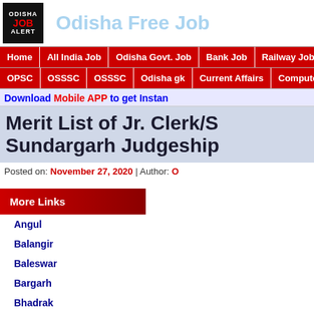Odisha Free Job
Home | All India Job | Odisha Govt. Job | Bank Job | Railway Job
OPSC | OSSSC | OSSSC | Odisha gk | Current Affairs | Computer
Download Mobile APP to get Instan...
Merit List of Jr. Clerk/S... Sundargarh Judgeship
Posted on: November 27, 2020 | Author: O...
More Links
Angul
Balangir
Baleswar
Bargarh
Bhadrak
Boudh